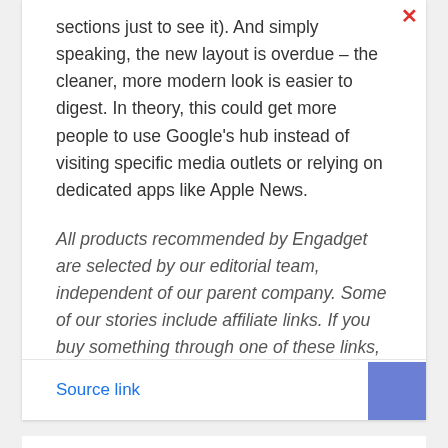sections just to see it). And simply speaking, the new layout is overdue – the cleaner, more modern look is easier to digest. In theory, this could get more people to use Google's hub instead of visiting specific media outlets or relying on dedicated apps like Apple News.
All products recommended by Engadget are selected by our editorial team, independent of our parent company. Some of our stories include affiliate links. If you buy something through one of these links, we may earn an affiliate commission.
Source link